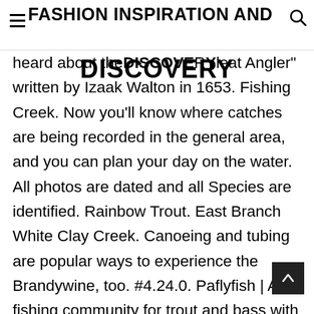FASHION INSPIRATION AND DISCOVERY
heard about the "Complete Angler" written by Izaak Walton in 1653. Fishing Creek. Now you'll know where catches are being recorded in the general area, and you can plan your day on the water. All photos are dated and all Species are identified. Rainbow Trout. East Branch White Clay Creek. Canoeing and tubing are popular ways to experience the Brandywine, too. #4.24.0. Paflyfish | A fly fishing community for trout and bass with stream reports, forum, maps, hatch charts and blog covering Pennsylvania, New Jersey, New York, Maryland